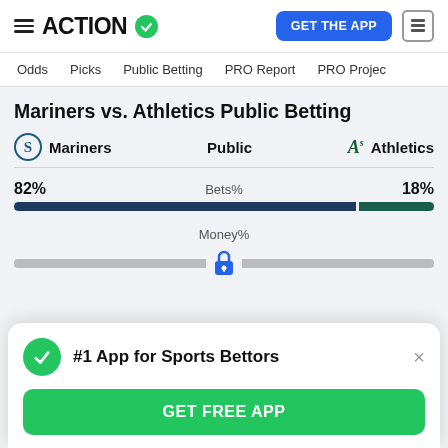ACTION — GET THE APP
Odds | Picks | Public Betting | PRO Report | PRO Project
Mariners vs. Athletics Public Betting
Mariners   Public   Athletics
[Figure (bar-chart): Bets%]
[Figure (infographic): Money% bar with lock icon indicating hidden/locked data]
#1 App for Sports Bettors
GET FREE APP